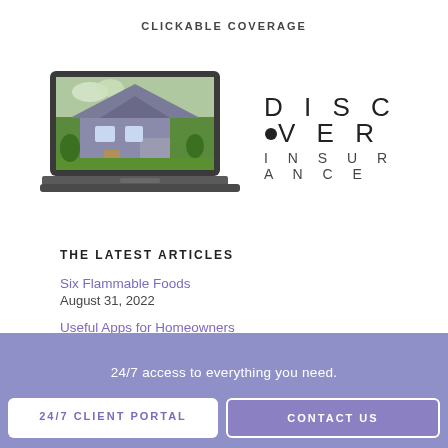CLICKABLE COVERAGE
[Figure (logo): Laptop displaying a house image, next to Discover Insurance logo with letter-spaced text]
THE LATEST ARTICLES
Six Flammable Foods
August 31, 2022
Useful Apps for Homeowners
August 30, 2022
24/7 access to everything you need.
24/7 CLIENT PORTAL
CONTACT US